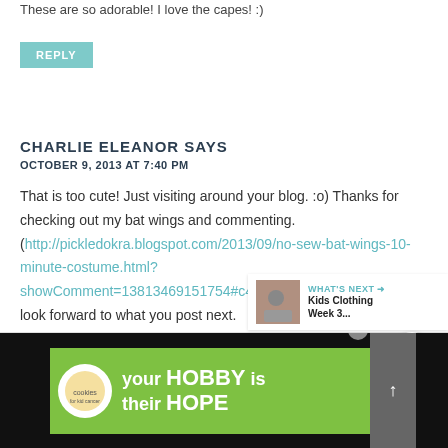These are so adorable! I love the capes! :)
REPLY
CHARLIE ELEANOR SAYS
OCTOBER 9, 2013 AT 7:40 PM
That is too cute! Just visiting around your blog. :o) Thanks for checking out my bat wings and commenting. (http://pickledokra.blogspot.com/2013/09/no-sew-bat-wings-10-minute-costume.html?showComment=13813469151754#c4158401538618012925) I look forward to what you post next.
REPLY
[Figure (screenshot): Cookies for Kid Cancer advertisement banner with green background showing 'your HOBBY is their HOPE' text]
[Figure (screenshot): What's Next widget showing 'Kids Clothing Week 3...' with thumbnail image]